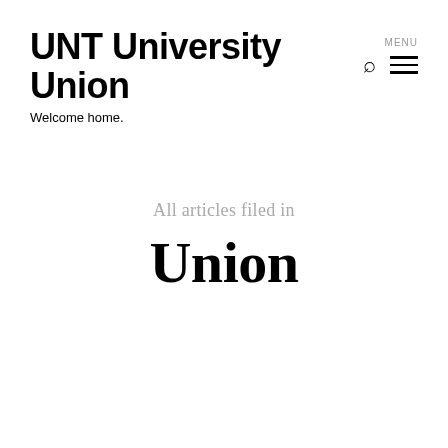UNT University Union
Welcome home.
MENU
All articles filed in
Union